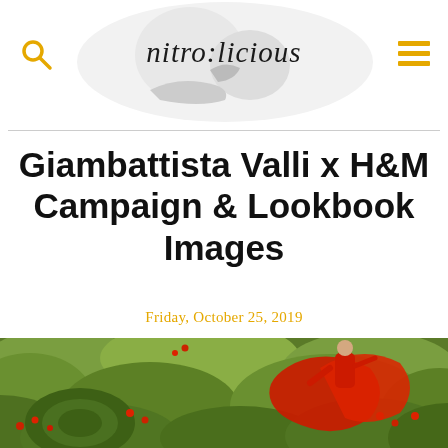nitro:licious
Giambattista Valli x H&M Campaign & Lookbook Images
Friday, October 25, 2019
[Figure (photo): A woman in a flowing red tulle gown standing in a formal green topiary garden maze with red roses, photographed for the Giambattista Valli x H&M campaign.]